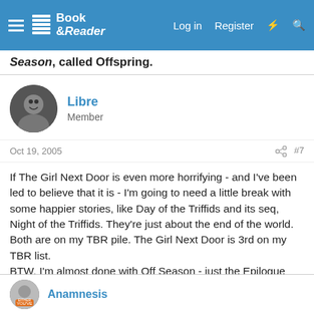Book & Reader — Log in  Register
Season, called Offspring.
Libre
Member
Oct 19, 2005  #7
If The Girl Next Door is even more horrifying - and I've been led to believe that it is - I'm going to need a little break with some happier stories, like Day of the Triffids and its seq, Night of the Triffids. They're just about the end of the world. Both are on my TBR pile. The Girl Next Door is 3rd on my TBR list.
BTW, I'm almost done with Off Season - just the Epilogue left, which I'll finish on my bus ride home tonight. Thanks for recommending this (I guess). It is remarkably horrifying, no doubt about it. And I've read the mot brutal stuff Koonz, Rice, Harris, and King have to offer. Mild by comparison.
Anamnesis